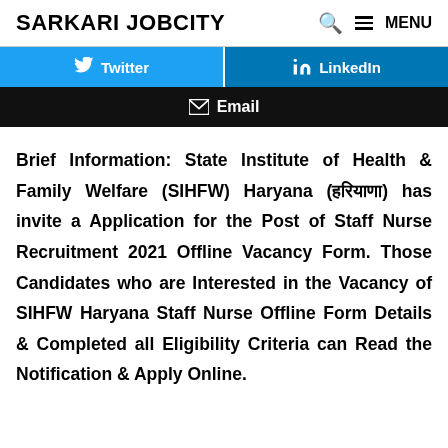SARKARI JOBCITY   🔍  ≡ MENU
[Figure (screenshot): Social sharing buttons: Twitter (blue), LinkedIn (blue), Email (black)]
Brief Information: State Institute of Health & Family Welfare (SIHFW) Haryana (हरियाणा) has invite a Application for the Post of Staff Nurse Recruitment 2021 Offline Vacancy Form. Those Candidates who are Interested in the Vacancy of SIHFW Haryana Staff Nurse Offline Form Details & Completed all Eligibility Criteria can Read the Notification & Apply Online.